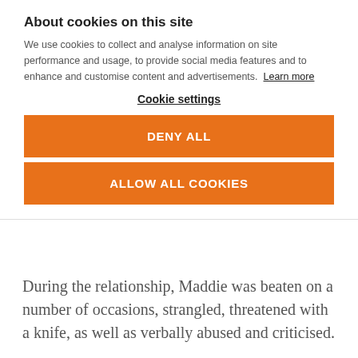About cookies on this site
We use cookies to collect and analyse information on site performance and usage, to provide social media features and to enhance and customise content and advertisements. Learn more
Cookie settings
DENY ALL
ALLOW ALL COOKIES
During the relationship, Maddie was beaten on a number of occasions, strangled, threatened with a knife, as well as verbally abused and criticised.